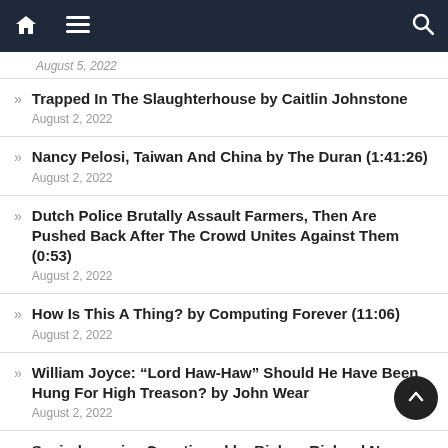Navigation bar with home, menu, and search icons
Trapped In The Slaughterhouse by Caitlin Johnstone
August 2, 2022
Nancy Pelosi, Taiwan And China by The Duran (1:41:26)
August 2, 2022
Dutch Police Brutally Assault Farmers, Then Are Pushed Back After The Crowd Unites Against Them (0:53)
August 2, 2022
How Is This A Thing? by Computing Forever (11:06)
August 2, 2022
William Joyce: “Lord Haw-Haw” Should He Have Been Hung For High Treason? by John Wear
August 2, 2022
Sociodynamics Questioned by Bishop Richard N.